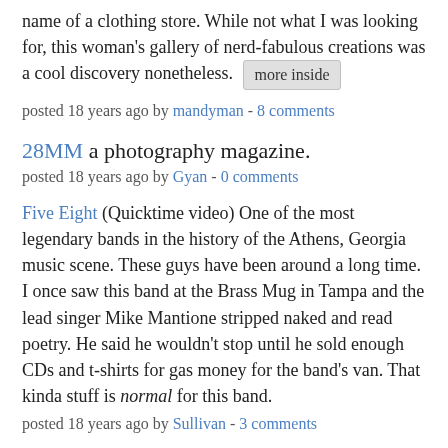name of a clothing store. While not what I was looking for, this woman's gallery of nerd-fabulous creations was a cool discovery nonetheless. [more inside]
posted 18 years ago by mandyman - 8 comments
28MM a photography magazine.
posted 18 years ago by Gyan - 0 comments
Five Eight (Quicktime video) One of the most legendary bands in the history of the Athens, Georgia music scene. These guys have been around a long time. I once saw this band at the Brass Mug in Tampa and the lead singer Mike Mantione stripped naked and read poetry. He said he wouldn't stop until he sold enough CDs and t-shirts for gas money for the band's van. That kinda stuff is normal for this band.
posted 18 years ago by Sullivan - 3 comments